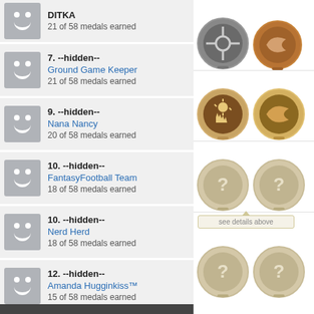DITKA — 21 of 58 medals earned
7. --hidden-- Ground Game Keeper — 21 of 58 medals earned
9. --hidden-- Nana Nancy — 20 of 58 medals earned
10. --hidden-- FantasyFootball Team — 18 of 58 medals earned
10. --hidden-- Nerd Herd — 18 of 58 medals earned
12. --hidden-- Amanda Hugginkiss™ — 15 of 58 medals earned
12. --hidden-- Harper's Bad Team — 15 of 58 medals earned
[Figure (illustration): Medal icons: silver/black trophy medal and bronze medal (top row), two bronze/gold touch medals (middle row), two tan/gold question mark medals (lower row), tooltip saying 'see details above', two more question mark medals at bottom]
see details above